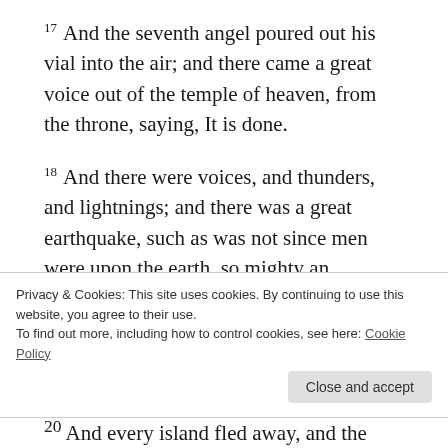17 And the seventh angel poured out his vial into the air; and there came a great voice out of the temple of heaven, from the throne, saying, It is done.
18 And there were voices, and thunders, and lightnings; and there was a great earthquake, such as was not since men were upon the earth, so mighty an earthquake, and so great.
19 And the great city was divided into three
Privacy & Cookies: This site uses cookies. By continuing to use this website, you agree to their use. To find out more, including how to control cookies, see here: Cookie Policy
20 And every island fled away, and the